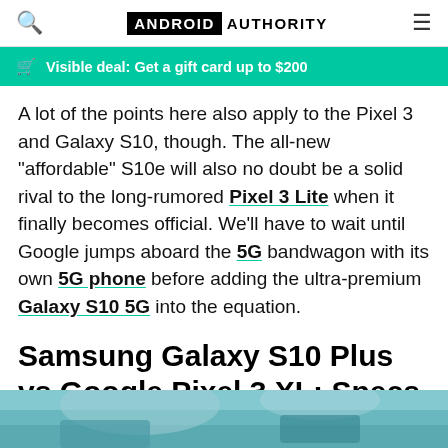ANDROID AUTHORITY
Visible deal: Get a gift card up to $200
A lot of the points here also apply to the Pixel 3 and Galaxy S10, though. The all-new "affordable" S10e will also no doubt be a solid rival to the long-rumored Pixel 3 Lite when it finally becomes official. We'll have to wait until Google jumps aboard the 5G bandwagon with its own 5G phone before adding the ultra-premium Galaxy S10 5G into the equation.
Samsung Galaxy S10 Plus vs Google Pixel 3 XL: Specs and features
[Figure (photo): Bottom portion of a photo showing phones on a surface, partially cut off]